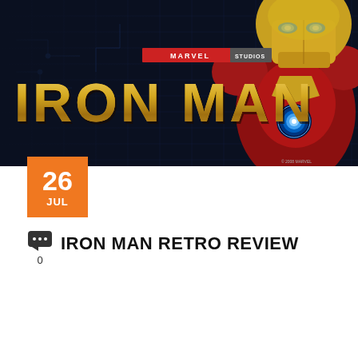[Figure (illustration): Iron Man Marvel Studios movie poster. Dark background with blueprint-style circuit patterns. 'MARVEL STUDIOS' text in red and white at top center. Large gold metallic 'IRON MAN' text across the lower portion. Iron Man armored figure (gold and red suit) visible on the right side with glowing blue arc reactor on chest. Small copyright '© 2008 MARVEL' in bottom right.]
26
JUL
IRON MAN RETRO REVIEW
0